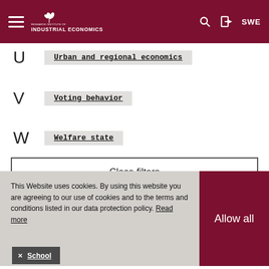Research Institute of Industrial Economics — SWE
U  Urban and regional economics
V  Voting behavior
W  Welfare state
Close filters
This Website uses cookies. By using this website you are agreeing to our use of cookies and to the terms and conditions listed in our data protection policy. Read more
Allow all
× School